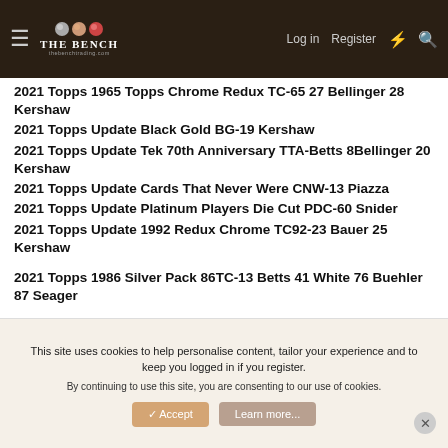The Bench - navigation bar with Log in, Register links
2021 Topps 1965 Topps Chrome Redux TC-65 27 Bellinger 28 Kershaw
2021 Topps Update Black Gold BG-19 Kershaw
2021 Topps Update Tek 70th Anniversary TTA-Betts 8Bellinger 20 Kershaw
2021 Topps Update Cards That Never Were CNW-13 Piazza
2021 Topps Update Platinum Players Die Cut PDC-60 Snider
2021 Topps Update 1992 Redux Chrome TC92-23 Bauer 25 Kershaw
2021 Topps 1986 Silver Pack 86TC-13 Betts 41 White 76 Buehler 87 Seager
2021 Topps DH Debuts DHD-4 Seager
This site uses cookies to help personalise content, tailor your experience and to keep you logged in if you register. By continuing to use this site, you are consenting to our use of cookies.